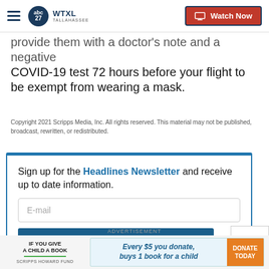WTXL Tallahassee – Watch Now
provide them with a doctor's note and a negative COVID-19 test 72 hours before your flight to be exempt from wearing a mask.
Copyright 2021 Scripps Media, Inc. All rights reserved. This material may not be published, broadcast, rewritten, or redistributed.
Sign up for the Headlines Newsletter and receive up to date information.
E-mail
Submit
CLOSE
ADVERTISEMENT
IF YOU GIVE A CHILD A BOOK SCRIPPS HOWARD FUND Every $5 you donate, buys 1 book for a child DONATE TODAY